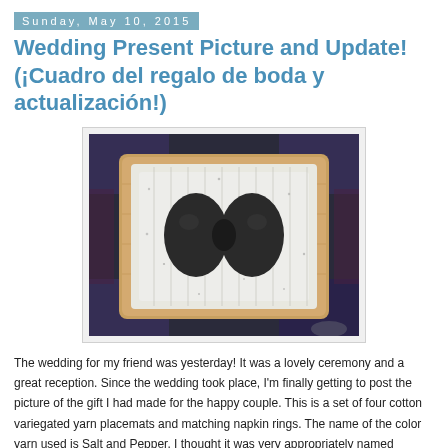Sunday, May 10, 2015
Wedding Present Picture and Update! (¡Cuadro del regalo de boda y actualización!)
[Figure (photo): A knitted white and speckled placemat with a dark brown/black bow-tie shaped napkin ring in the center, displayed on a wooden cutting board over a decorative rug.]
The wedding for my friend was yesterday!  It was a lovely ceremony and a great reception.  Since the wedding took place, I'm finally getting to post the picture of the gift I had made for the happy couple.  This is a set of four cotton variegated yarn placemats and matching napkin rings.  The name of the color yarn used is Salt and Pepper.  I thought it was very appropriately named